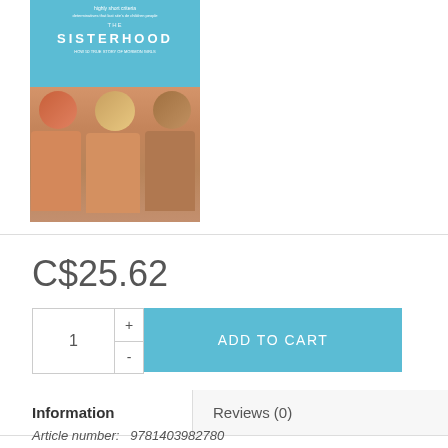[Figure (photo): Book cover for 'The Sisterhood' showing three smiling young women on a teal/blue background]
C$25.62
1 + -
ADD TO CART
Information
Reviews (0)
Article number:  9781403982780
Availability:        In stock (1)